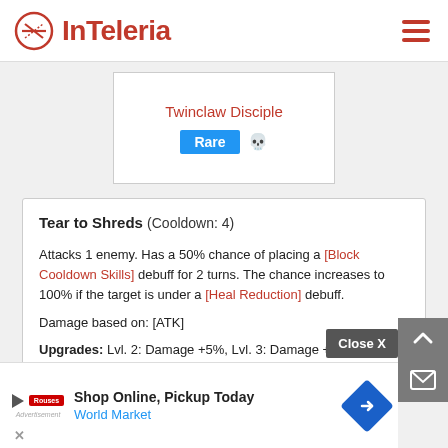InTeleria
Twinclaw Disciple
Rare
Tear to Shreds (Cooldown: 4)
Attacks 1 enemy. Has a 50% chance of placing a [Block Cooldown Skills] debuff for 2 turns. The chance increases to 100% if the target is under a [Heal Reduction] debuff.
Damage based on: [ATK]
Upgrades: Lvl. 2: Damage +5%, Lvl. 3: Damage +5%, Lvl. 4: Cooldown -1
Close X
[Figure (other): Advertisement banner: Shop Online, Pickup Today - World Market]
Shop Online, Pickup Today
World Market